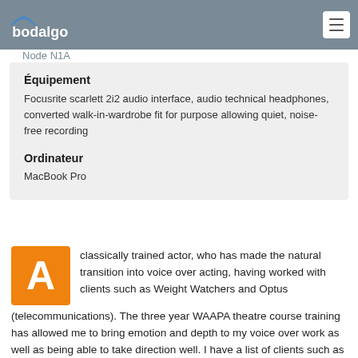bodalgo
Node N1A
Équipement
Focusrite scarlett 2i2 audio interface, audio technical headphones, converted walk-in-wardrobe fit for purpose allowing quiet, noise-free recording
Ordinateur
MacBook Pro
A classically trained actor, who has made the natural transition into voice over acting, having worked with clients such as Weight Watchers and Optus (telecommunications). The three year WAAPA theatre course training has allowed me to bring emotion and depth to my voice over work as well as being able to take direction well. I have a list of clients such as Rio Tinto, Fuji Xerox, Landcorp,